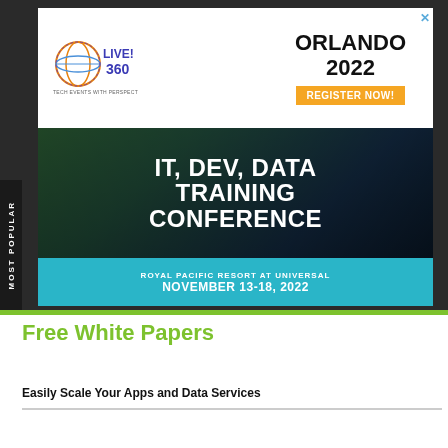[Figure (infographic): Live! 360 Tech Events advertisement banner. Top section: Live! 360 logo on white left, 'ORLANDO 2022' in bold black with orange 'REGISTER NOW!' button on right. Middle: dark background with hotel/resort photo overlay showing 'IT, DEV, DATA TRAINING CONFERENCE' in large white bold text. Bottom: teal background with 'ROYAL PACIFIC RESORT AT UNIVERSAL' and 'NOVEMBER 13-18, 2022' in white text. Close X button top right.]
MOST POPULAR
Free White Papers
Easily Scale Your Apps and Data Services